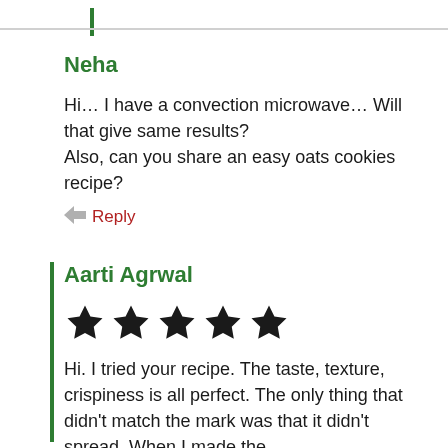Neha
Hi… I have a convection microwave… Will that give same results?
Also, can you share an easy oats cookies recipe?
Reply
Aarti Agrwal
[Figure (other): 5 filled black stars rating]
Hi. I tried your recipe. The taste, texture, crispiness is all perfect. The only thing that didn't match the mark was that it didn't spread. When I made the